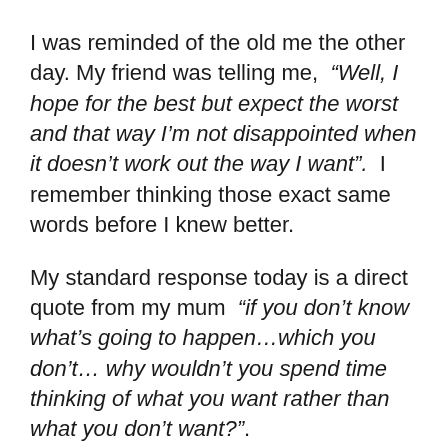I was reminded of the old me the other day. My friend was telling me, “Well, I hope for the best but expect the worst and that way I’m not disappointed when it doesn’t work out the way I want”. I remember thinking those exact same words before I knew better.
My standard response today is a direct quote from my mum “if you don’t know what’s going to happen…which you don’t… why wouldn’t you spend time thinking of what you want rather than what you don’t want?”.
Usually greeted by blank looks from me?